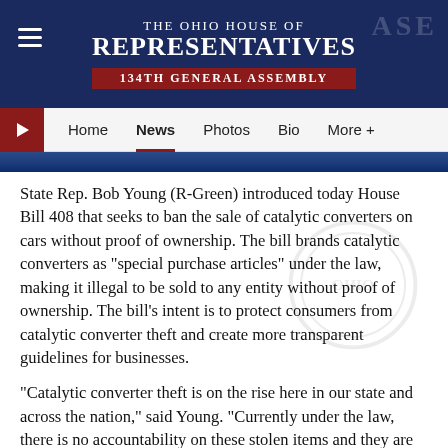THE OHIO HOUSE OF REPRESENTATIVES 134TH GENERAL ASSEMBLY
Home  News  Photos  Bio  More +
State Rep. Bob Young (R-Green) introduced today House Bill 408 that seeks to ban the sale of catalytic converters on cars without proof of ownership. The bill brands catalytic converters as “special purchase articles” under the law, making it illegal to be sold to any entity without proof of ownership. The bill’s intent is to protect consumers from catalytic converter theft and create more transparent guidelines for businesses.
“Catalytic converter theft is on the rise here in our state and across the nation,” said Young. “Currently under the law, there is no accountability on these stolen items and they are easily taken from people’s vehicles. It’s my hope with this bill that we stop the sales of these converters to